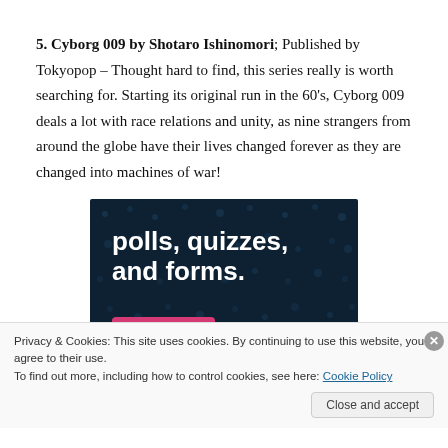5. Cyborg 009 by Shotaro Ishinomori; Published by Tokyopop – Thought hard to find, this series really is worth searching for. Starting its original run in the 60's, Cyborg 009 deals a lot with race relations and unity, as nine strangers from around the globe have their lives changed forever as they are changed into machines of war!
[Figure (other): Advertisement banner for a polls, quizzes, and forms service with dark navy background, large white bold text reading 'polls, quizzes, and forms.', a pink 'Start now' button, and a circular Crowdl logo in the bottom right corner.]
Privacy & Cookies: This site uses cookies. By continuing to use this website, you agree to their use.
To find out more, including how to control cookies, see here: Cookie Policy